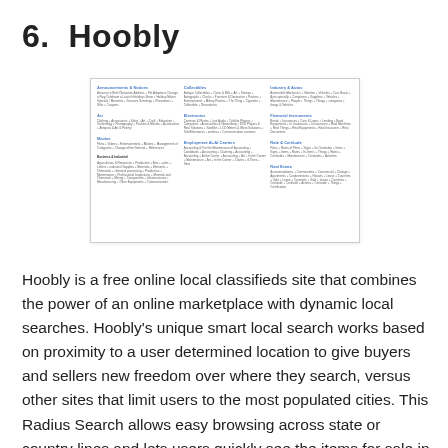6.  Hoobly
[Figure (screenshot): Screenshot of the Hoobly website showing a classified ads page with three columns of category listings including Announcements & Notices, Art, Movies, Business & Industrial, Collectibles, Electronics, Employment At-At Carriers, Industry & Autos, Financial Instruments, Rate & Certitude, Real Estate, and other categories with small text descriptions.]
Hoobly is a free online local classifieds site that combines the power of an online marketplace with dynamic local searches. Hoobly's unique smart local search works based on proximity to a user determined location to give buyers and sellers new freedom over where they search, versus other sites that limit users to the most populated cities. This Radius Search allows easy browsing across state or country lines and lets users quickly see the items for sale in their surrounding area, while giving sellers a fast and effective way to reach local buyers without paying transaction fees. More than 500,000 users have already turned to Hoobly to buy, sell and rent items and services. To see what's new in your area,